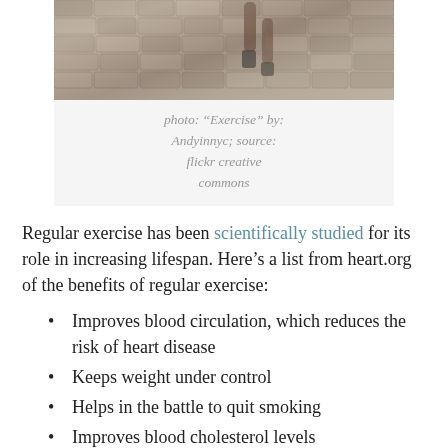[Figure (photo): Cropped photo of a person running/jogging on a stone or cobblestone surface, showing legs and feet]
photo: “Exercise” by: Andyinnyc; source: flickr creative commons
Regular exercise has been scientifically studied for its role in increasing lifespan. Here’s a list from heart.org of the benefits of regular exercise:
Improves blood circulation, which reduces the risk of heart disease
Keeps weight under control
Helps in the battle to quit smoking
Improves blood cholesterol levels